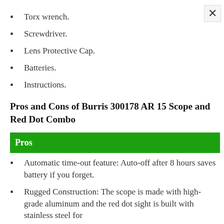Torx wrench.
Screwdriver.
Lens Protective Cap.
Batteries.
Instructions.
Pros and Cons of Burris 300178 AR 15 Scope and Red Dot Combo
Pros
Automatic time-out feature: Auto-off after 8 hours saves battery if you forget.
Rugged Construction: The scope is made with high-grade aluminum and the red dot sight is built with stainless steel for